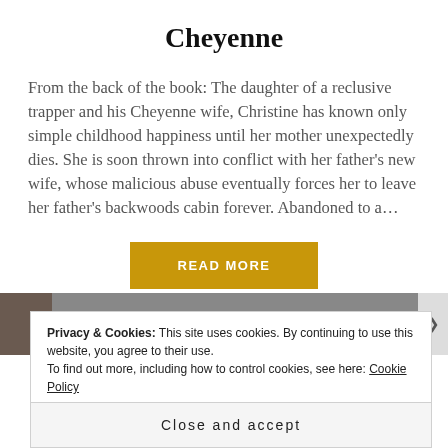Cheyenne
From the back of the book: The daughter of a reclusive trapper and his Cheyenne wife, Christine has known only simple childhood happiness until her mother unexpectedly dies. She is soon thrown into conflict with her father's new wife, whose malicious abuse eventually forces her to leave her father's backwoods cabin forever. Abandoned to a...
READ MORE
Privacy & Cookies: This site uses cookies. By continuing to use this website, you agree to their use.
To find out more, including how to control cookies, see here: Cookie Policy
Close and accept